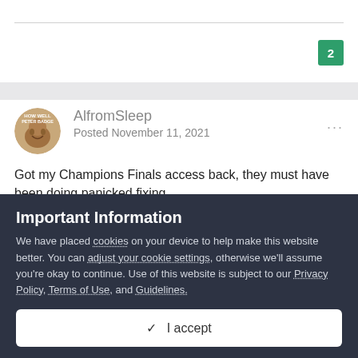2
AlfromSleep
Posted November 11, 2021
Got my Champions Finals access back, they must have been doing panicked fixing.
Important Information
We have placed cookies on your device to help make this website better. You can adjust your cookie settings, otherwise we'll assume you're okay to continue. Use of this website is subject to our Privacy Policy, Terms of Use, and Guidelines.
✓ I accept